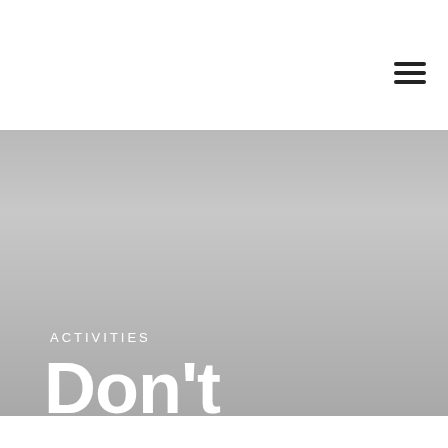[Figure (logo): Bentota No 1 logo with circular mandala/flower design above bold text BENTOTA NO 1]
[Figure (illustration): Hamburger menu icon (three horizontal lines) in top right corner]
[Figure (photo): Full-width hero image with gray gradient background representing an outdoor/activities scene]
ACTIVITIES
Don't